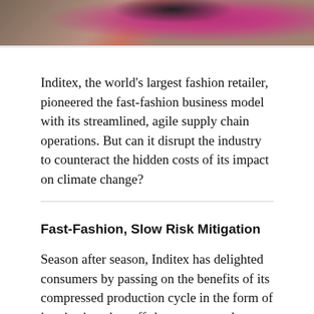[Figure (photo): Cropped photo showing fashion clothing, likely women in colorful garments including magenta/fuchsia furry coat and dark patterned scarf, partially visible at top of page]
Inditex, the world's largest fashion retailer, pioneered the fast-fashion business model with its streamlined, agile supply chain operations. But can it disrupt the industry to counteract the hidden costs of its impact on climate change?
Fast-Fashion, Slow Risk Mitigation
Season after season, Inditex has delighted consumers by passing on the benefits of its compressed production cycle in the form of just-in-time, hot-off-the-runway-style clothing at a fraction of runway prices. Inditex's Zara brand offers 24